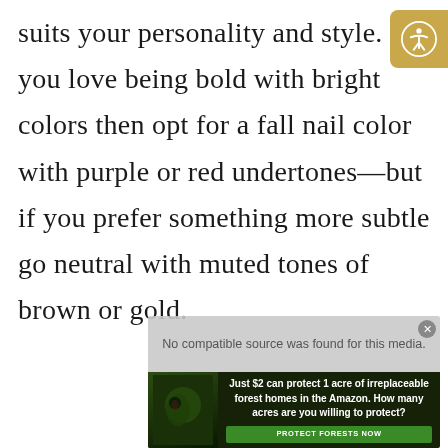suits your personality and style. If you love being bold with bright colors then opt for a fall nail color with purple or red undertones—but if you prefer something more subtle go neutral with muted tones of brown or gold.
[Figure (screenshot): Video player overlay showing 'No compatible source was found for this media.' message, with an advertisement banner below for Amazon forest protection ('Just $2 can protect 1 acre of irreplaceable forest homes in the Amazon. How many acres are you willing to protect? PROTECT FORESTS NOW'), and a partially visible screenshot at the bottom.]